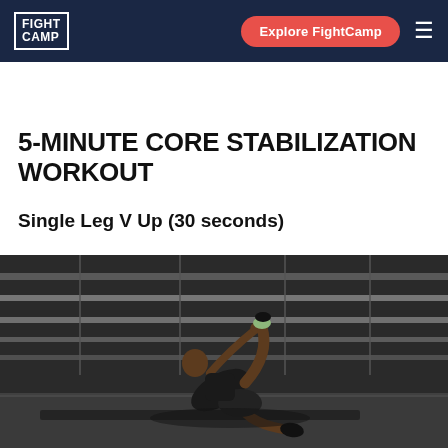FIGHT CAMP | Explore FightCamp
[Figure (photo): Partial banner image showing workout text in red on dark background]
5-MINUTE CORE STABILIZATION WORKOUT
Single Leg V Up (30 seconds)
[Figure (photo): Athlete performing a Single Leg V Up exercise on a mat in a dark studio with horizontal light strips in background]